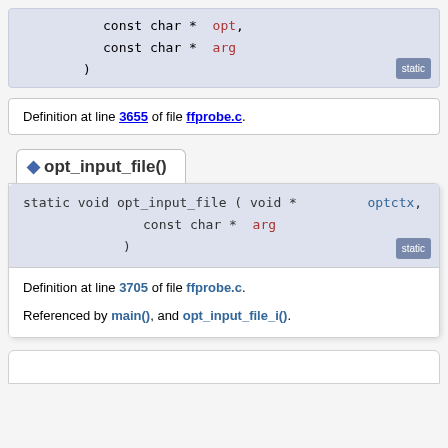const char * opt,
const char * arg
)
Definition at line 3655 of file ffprobe.c.
opt_input_file()
static void opt_input_file ( void * optctx,
const char * arg
)
Definition at line 3705 of file ffprobe.c.
Referenced by main(), and opt_input_file_i().